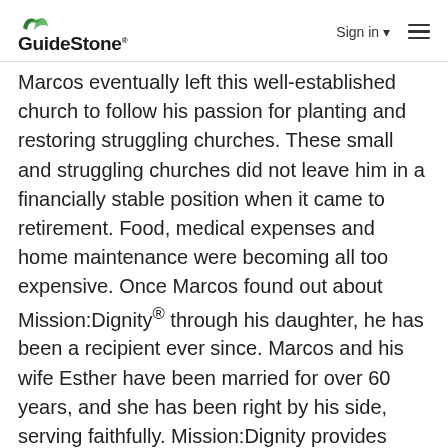GuideStone® | Sign in ▾ ☰
Marcos eventually left this well-established church to follow his passion for planting and restoring struggling churches. These small and struggling churches did not leave him in a financially stable position when it came to retirement. Food, medical expenses and home maintenance were becoming all too expensive. Once Marcos found out about Mission:Dignity® through his daughter, he has been a recipient ever since. Marcos and his wife Esther have been married for over 60 years, and she has been right by his side, serving faithfully. Mission:Dignity provides funds that pay for his medicine as well as her health expenses.